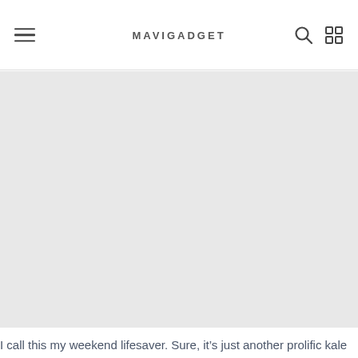MAVIGADGET
[Figure (other): Large gray placeholder content area below the navigation header]
I call this my weekend lifesaver. Sure, it’s just another prolific kale